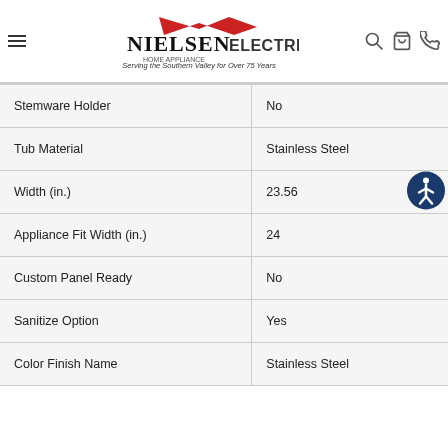Nielsen Electric Home Appliance — Serving the Southern Valley for Over 75 Years
| Specification | Value |
| --- | --- |
| Stemware Holder | No |
| Tub Material | Stainless Steel |
| Width (in.) | 23.56 |
| Appliance Fit Width (in.) | 24 |
| Custom Panel Ready | No |
| Sanitize Option | Yes |
| Color Finish Name | Stainless Steel |